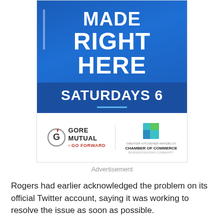[Figure (illustration): Advertisement banner with blue background showing 'MADE RIGHT HERE SATURDAYS 6' text, with Gore Mutual and Chamber of Commerce sponsor logos below on white background]
Advertisement
Rogers had earlier acknowledged the problem on its official Twitter account, saying it was working to resolve the issue as soon as possible.
Some customers in New Brunswick said their Rogers Internet services were down as well, although those